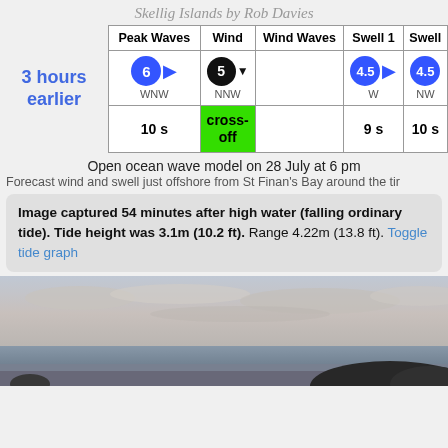Skellig Islands by Rob Davies
| Peak Waves | Wind | Wind Waves | Swell 1 | Swell 2 |
| --- | --- | --- | --- | --- |
| 6 WNW | 5 NNW |  | 4.5 W | 4.5 NW |
| 10 s | cross-off |  | 9 s | 10 s |
Open ocean wave model on 28 July at 6 pm
Forecast wind and swell just offshore from St Finan's Bay around the ti...
Image captured 54 minutes after high water (falling ordinary tide). Tide height was 3.1m (10.2 ft). Range 4.22m (13.8 ft). Toggle tide graph
[Figure (photo): Panoramic coastal photo showing Skellig Islands, cloudy sky over calm sea with dark land silhouette in foreground]